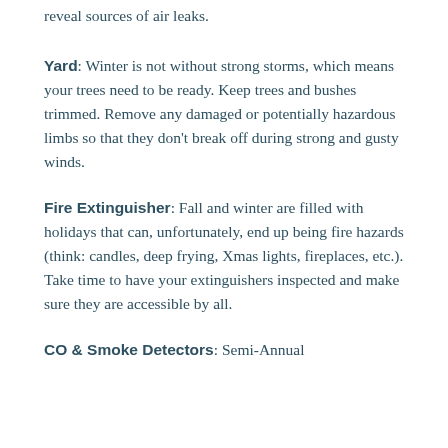reveal sources of air leaks.
Yard: Winter is not without strong storms, which means your trees need to be ready. Keep trees and bushes trimmed. Remove any damaged or potentially hazardous limbs so that they don't break off during strong and gusty winds.
Fire Extinguisher: Fall and winter are filled with holidays that can, unfortunately, end up being fire hazards (think: candles, deep frying, Xmas lights, fireplaces, etc.). Take time to have your extinguishers inspected and make sure they are accessible by all.
CO & Smoke Detectors: Semi-Annual